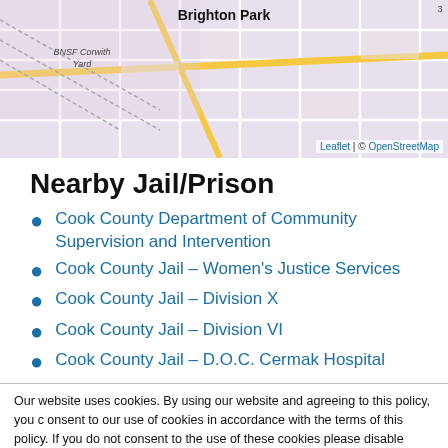[Figure (map): Street map showing Brighton Park neighborhood with BNSF Corwith Yard labeled, OpenStreetMap tiles with Leaflet attribution]
Nearby Jail/Prison
Cook County Department of Community Supervision and Intervention
Cook County Jail – Women's Justice Services
Cook County Jail – Division X
Cook County Jail – Division VI
Cook County Jail – D.O.C. Cermak Hospital
Our website uses cookies. By using our website and agreeing to this policy, you consent to our use of cookies in accordance with the terms of this policy. If you do not consent to the use of these cookies please disable them following the instructions in this Cookie Notice so that cookies from this website cannot be placed on your device.
I ACCEPT COOKIES